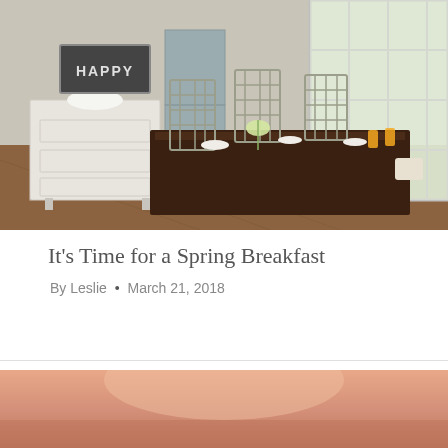[Figure (photo): A rustic farmhouse dining room with a long dark wood table set for a spring breakfast, surrounded by weathered gray lattice-back chairs. A white distressed dresser sits against the wall with a chalkboard sign reading HAPPY above it. Large windows let in bright natural light.]
It's Time for a Spring Breakfast
By Leslie • March 21, 2018
[Figure (photo): Bottom portion of a second photo showing a warm peachy-orange blurred background, partially visible.]